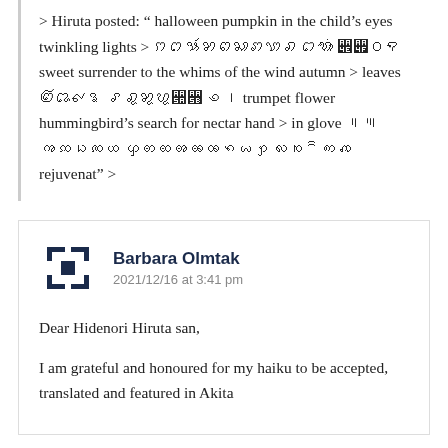> Hiruta posted: " halloween pumpkin in the child's eyes twinkling lights > ꩀꩁꩂꩃꩄꩅꩆꩇꩈꩉ ꩊꩋꩌꩍ ꩎꩏꩐꩑ sweet surrender to the whims of the wind autumn > leaves ꩒꩓꩔꩕ ꩖꩗꩘꩙꩚꩛ ꩜꩝ trumpet flower hummingbird's search for nectar hand > in glove ꩞꩟ꩠꩡꩢꩣꩤ ꩥꩦꩧꩨꩩꩪꩫꩬꩭ ꩮꩯꩰꩱꩲ rejuvenat" >
Barbara Olmtak
2021/12/16 at 3:41 pm
Dear Hidenori Hiruta san,
I am grateful and honoured for my haiku to be accepted, translated and featured in Akita